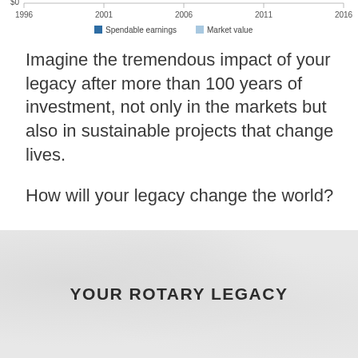[Figure (other): Bottom portion of a line/area chart showing x-axis labels (1996, 2001, 2006, 2011, 2016) and a legend with 'Spendable earnings' (dark blue) and 'Market value' (light blue). The chart body is cropped at top.]
Imagine the tremendous impact of your legacy after more than 100 years of investment, not only in the markets but also in sustainable projects that change lives.
How will your legacy change the world?
YOUR ROTARY LEGACY